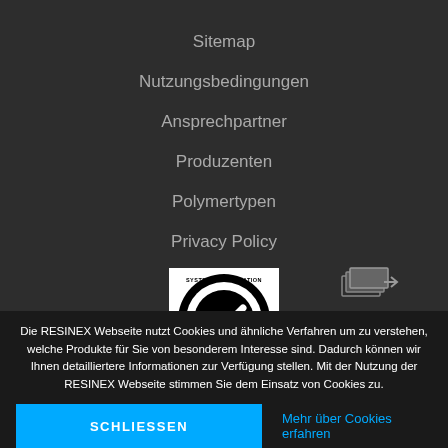Sitemap
Nutzungsbedingungen
Ansprechpartner
Produzenten
Polymertypen
Privacy Policy
[Figure (logo): SGS ISO 9001 System Certification logo — black and white circular badge with checkmark and SGS branding]
[Figure (other): Small pagination/navigation icon showing stacked pages with an arrow]
Die RESINEX Webseite nutzt Cookies und ähnliche Verfahren um zu verstehen, welche Produkte für Sie von besonderem Interesse sind. Dadurch können wir Ihnen detailliertere Informationen zur Verfügung stellen. Mit der Nutzung der RESINEX Webseite stimmen Sie dem Einsatz von Cookies zu.
SCHLIESSEN
Mehr über Cookies erfahren